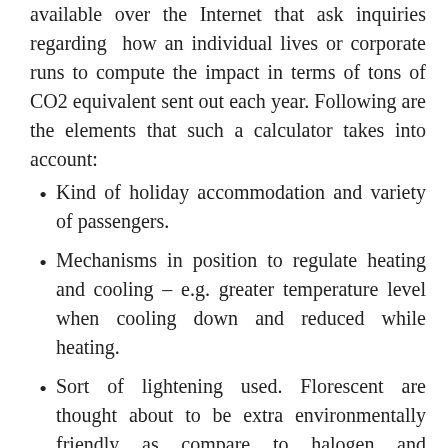available over the Internet that ask inquiries regarding how an individual lives or corporate runs to compute the impact in terms of tons of CO2 equivalent sent out each year. Following are the elements that such a calculator takes into account:
Kind of holiday accommodation and variety of passengers.
Mechanisms in position to regulate heating and cooling – e.g. greater temperature level when cooling down and reduced while heating.
Sort of lightening used. Florescent are thought about to be extra environmentally friendly as compare to halogen and incandescent ones.
Kind of insulation applied over doors,